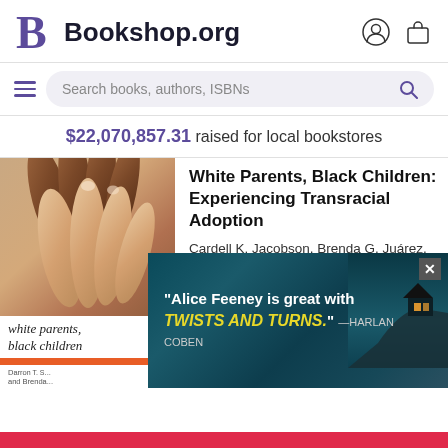Bookshop.org
Search books, authors, ISBNs
$22,070,857.31 raised for local bookstores
[Figure (photo): Book cover of 'White Parents, Black Children' showing intertwined hands of different skin tones. Bottom shows italic title text 'white parents, black children' with an orange bar and author names partially visible.]
White Parents, Black Children: Experiencing Transracial Adoption
Cardell K. Jacobson, Brenda G. Juárez, et al.
$26.40
[Figure (screenshot): Advertisement banner with teal/dark background showing a house on a cliff with text: "Alice Feeney is great with TWISTS AND TURNS." — HARLAN COBEN. Has an X close button in the upper right.]